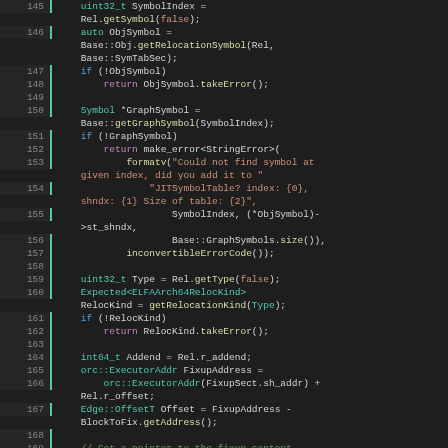[Figure (screenshot): Source code snippet in a dark-themed code editor showing C++ code for symbol relocation handling, lines 145-169]